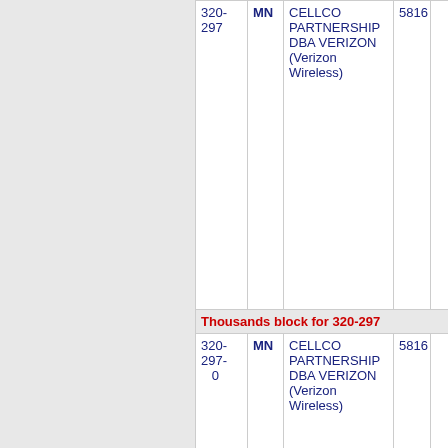| NPA | ST | Company | LATA |  |
| --- | --- | --- | --- | --- |
| 320-297 | MN | CELLCO PARTNERSHIP DBA VERIZON (Verizon Wireless) | 5816 |  |
| Thousands block for 320-297 |  |  |  |  |
| 320-297-0 | MN | CELLCO PARTNERSHIP DBA VERIZON (Verizon Wireless) | 5816 |  |